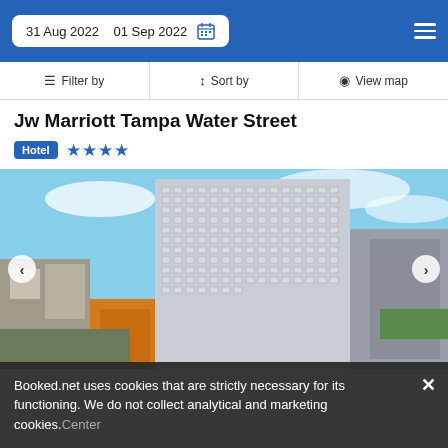31 Aug 2022   01 Sep 2022
Filter by   Sort by   View map
Jw Marriott Tampa Water Street
Hotel ★★★★
[Figure (photo): Aerial view of the JW Marriott Tampa Water Street hotel building, a tall glass and concrete high-rise in downtown Tampa with surrounding cityscape]
Booked.net uses cookies that are strictly necessary for its functioning. We do not collect analytical and marketing cookies.